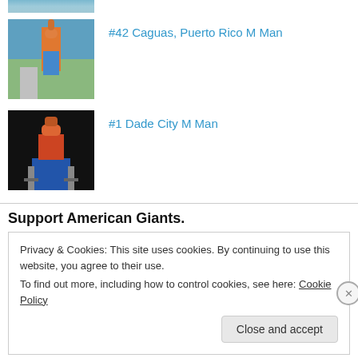[Figure (photo): Partial thumbnail at top, cropped image of a figure outdoors]
#42 Caguas, Puerto Rico M Man
[Figure (photo): Thumbnail photo of a figure in red and blue costume against dark background]
#1 Dade City M Man
Support American Giants.
Privacy & Cookies: This site uses cookies. By continuing to use this website, you agree to their use.
To find out more, including how to control cookies, see here: Cookie Policy